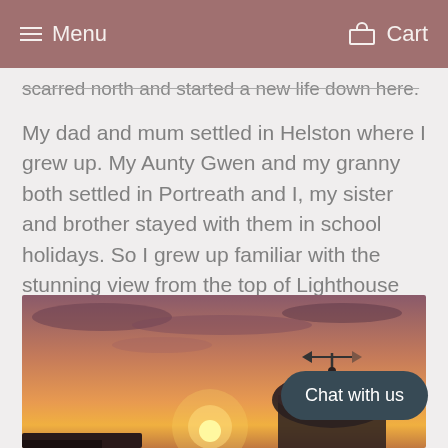Menu   Cart
scarred north and started a new life down here.
My dad and mum settled in Helston where I grew up. My Aunty Gwen and my granny both settled in Portreath and I, my sister and brother stayed with them in school holidays. So I grew up familiar with the stunning view from the top of Lighthouse Hill where my aunty lived, Gull Rock and the 'Pepper Pot' - a daymark used for marine navigation very near her house.
[Figure (photo): Sunset photo showing a building dome/cupola with a weather vane silhouetted against a warm orange and pink sky with clouds. The sun is visible near the horizon.]
Chat with us